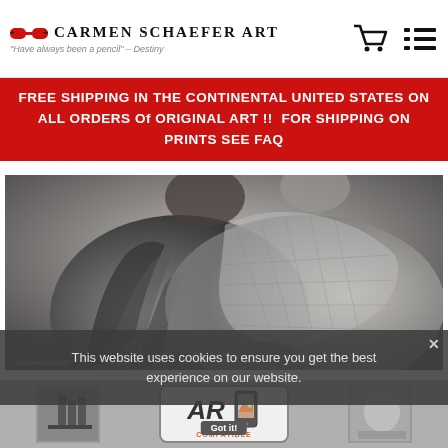Carmen Schaefer Art — "Have always been a pencil" — Destiny
FREE SHIPPING IN THE CONTINENTAL UNITED STATES ON ALL ORDERS Of ORIGINAL ART !!  FOR SHIPPING ON PRINTS SEE FAQ
[Figure (photo): Black and white pencil drawing of two elderly figures wearing traditional/ethnic clothing, detailed shading, appears to be an original pencil artwork by Carmen Schaefer]
This website uses cookies to ensure you get the best experience on our website.
[Figure (other): AR Compatible badge with phone icon and Got it! button, flanked by two artwork thumbnails]